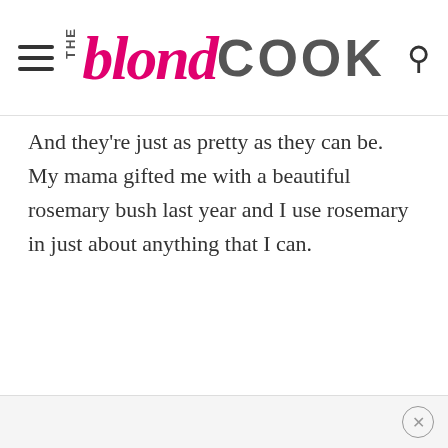THE blond COOK
And they're just as pretty as they can be.  My mama gifted me with a beautiful rosemary bush last year and I use rosemary in just about anything that I can.